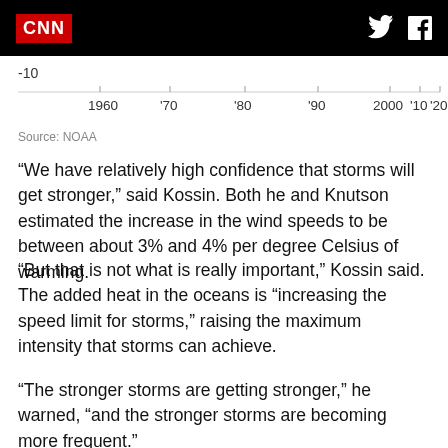CNN
[Figure (continuous-plot): Time axis showing years from 1960 to '20, with -10 label, tick marks at 1960, '70, '80, '90, 2000, '10, '20]
Source: NOAA
“We have relatively high confidence that storms will get stronger,” said Kossin. Both he and Knutson estimated the increase in the wind speeds to be between about 3% and 4% per degree Celsius of warming.
“But that is not what is really important,” Kossin said. The added heat in the oceans is “increasing the speed limit for storms,” raising the maximum intensity that storms can achieve.
“The stronger storms are getting stronger,” he warned, “and the stronger storms are becoming more frequent.”